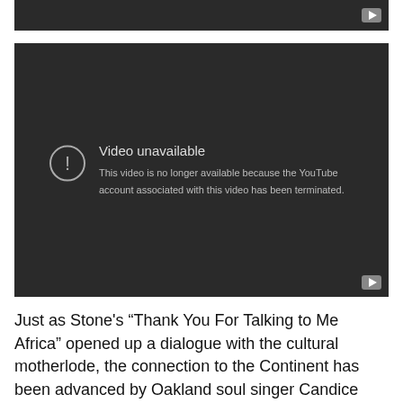[Figure (screenshot): Partially visible YouTube video embed at top, cropped — only dark player bar visible with YouTube button]
[Figure (screenshot): YouTube embedded video player showing 'Video unavailable' error message. Text reads: 'Video unavailable. This video is no longer available because the YouTube account associated with this video has been terminated.' A circular exclamation icon is shown on the left. A YouTube play button is visible in the bottom-right corner.]
Just as Stone's “Thank You For Talking to Me Africa” opened up a dialogue with the cultural motherlode, the connection to the Continent has been advanced by Oakland soul singer Candice Antique Davis, who collaborated with native hip-hop artists during a recent trip